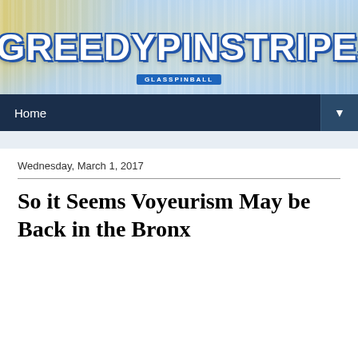[Figure (screenshot): Banner image for #GREEDYPINSTRIPES blog showing the hashtag logo text in large white outlined letters over a blurred baseball stadium background with blue tones and vertical stripe overlay]
Home ▼
Wednesday, March 1, 2017
So it Seems Voyeurism May be Back in the Bronx